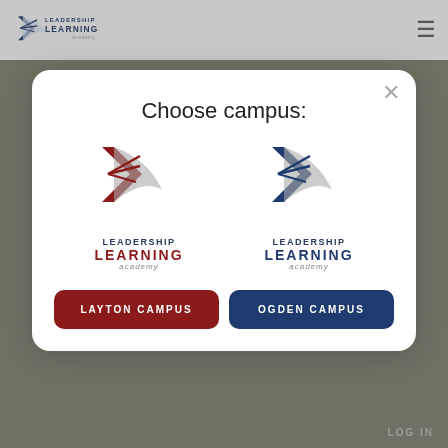Leadership Learning Academy
Choose campus:
[Figure (logo): Leadership Learning Academy logo - Layton Campus (red/crimson variant) with stylized swoosh and star mark]
[Figure (logo): Leadership Learning Academy logo - Ogden Campus (navy blue variant) with stylized swoosh and star mark]
LAYTON CAMPUS
OGDEN CAMPUS
LOG IN